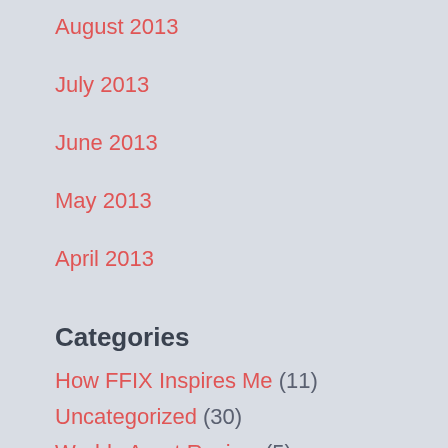August 2013
July 2013
June 2013
May 2013
April 2013
Categories
How FFIX Inspires Me (11)
Uncategorized (30)
Worlds Apart Review (5)